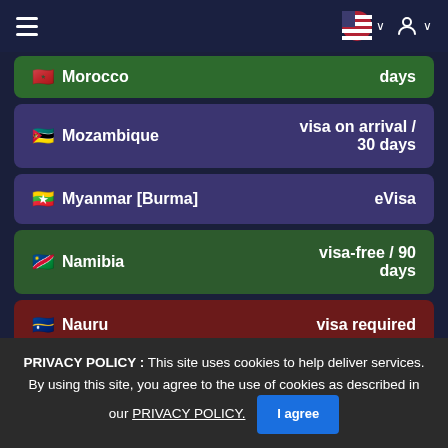Navigation header with hamburger menu, US flag selector, and user icon
Morocco — days
Mozambique — visa on arrival / 30 days
Myanmar [Burma] — eVisa
Namibia — visa-free / 90 days
Nauru — visa required
PRIVACY POLICY : This site uses cookies to help deliver services. By using this site, you agree to the use of cookies as described in our PRIVACY POLICY. I agree